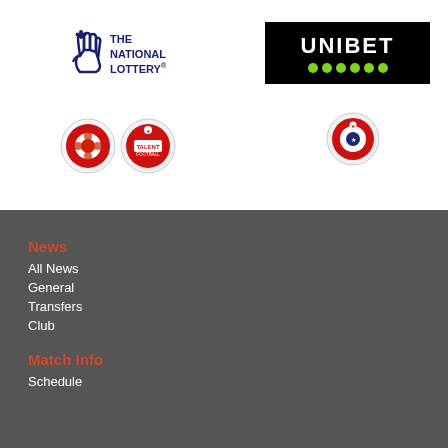[Figure (logo): The National Lottery logo with hand and four-leaf clover icon]
[Figure (logo): Unibet logo on black background with green dots]
[Figure (logo): Two circular football/soccer association badge logos on left]
[Figure (logo): Single circular football/soccer association badge logo on right]
News
All News
General
Transfers
Club
Match Info
Schedule